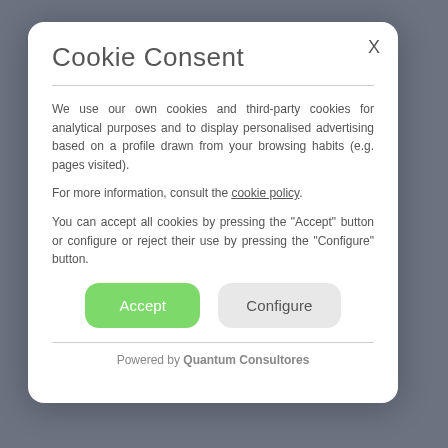Cookie Consent
We use our own cookies and third-party cookies for analytical purposes and to display personalised advertising based on a profile drawn from your browsing habits (e.g. pages visited).
For more information, consult the cookie policy.
You can accept all cookies by pressing the "Accept" button or configure or reject their use by pressing the "Configure" button.
Accept   Configure
Powered by Quantum Consultores